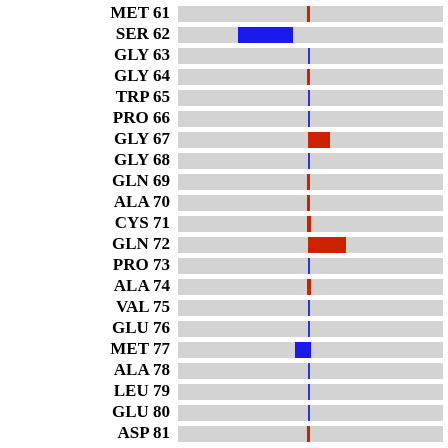[Figure (bar-chart): Horizontal bar chart showing per-residue displacement/B-factor. Each row has a gray background bar spanning the full range, with a colored marker (blue or red) indicating deviation from mean. Blue markers indicate negative deviation, red markers indicate positive deviation. Larger colored blocks for SER 62 (blue), GLY 67 (red), GLN 72 (red), MET 77 (blue).]